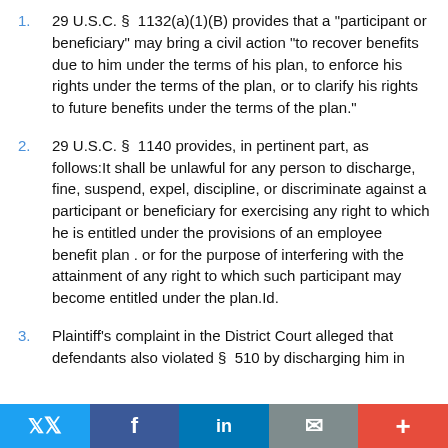1. 29 U.S.C. § 1132(a)(1)(B) provides that a "participant or beneficiary" may bring a civil action "to recover benefits due to him under the terms of his plan, to enforce his rights under the terms of the plan, or to clarify his rights to future benefits under the terms of the plan."
2. 29 U.S.C. § 1140 provides, in pertinent part, as follows:It shall be unlawful for any person to discharge, fine, suspend, expel, discipline, or discriminate against a participant or beneficiary for exercising any right to which he is entitled under the provisions of an employee benefit plan . or for the purpose of interfering with the attainment of any right to which such participant may become entitled under the plan.Id.
3. Plaintiff's complaint in the District Court alleged that defendants also violated § 510 by discharging him in